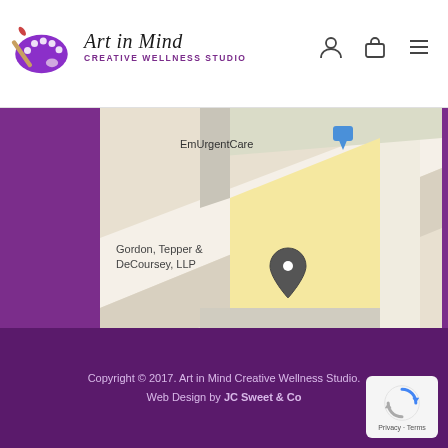[Figure (logo): Art in Mind Creative Wellness Studio logo with paint palette and brush graphic, script text and purple tagline]
[Figure (map): Google Maps screenshot showing location near EmUrgentCare, Gordon Tepper & DeCoursey LLP, route 17, and Navy Operation Support Center]
Copyright © 2017. Art in Mind Creative Wellness Studio. Web Design by JC Sweet & Co